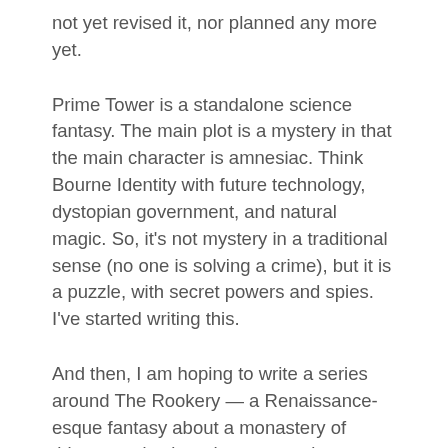not yet revised it, nor planned any more yet.
Prime Tower is a standalone science fantasy. The main plot is a mystery in that the main character is amnesiac. Think Bourne Identity with future technology, dystopian government, and natural magic. So, it's not mystery in a traditional sense (no one is solving a crime), but it is a puzzle, with secret powers and spies. I've started writing this.
And then, I am hoping to write a series around The Rookery — a Renaissance-esque fantasy about a monastery of thieves and spies who can turn into ravens and use chess pieces as messages. Lots of play on the word “rook”.
As you can see, while I write in many different genres,